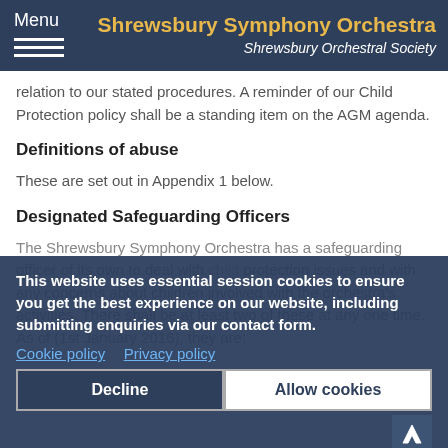Menu | Shrewsbury Symphony Orchestra | Shrewsbury Orchestral Society
relation to our stated procedures. A reminder of our Child Protection policy shall be a standing item on the AGM agenda.
Definitions of abuse
These are set out in Appendix 1 below.
Designated Safeguarding Officers
The Shrewsbury Symphony Orchestra has a safeguarding officer of its own to deal with child protection issues and with any concerns about children involved with the orchestra's activities. There shall be at least two of these at any one time. As of (1st January 2016), they are:
This website uses essential session cookies to ensure you get the best experience on our website, including submitting enquiries via our contact form.
Cookie policy   Privacy policy
Decline   Allow cookies